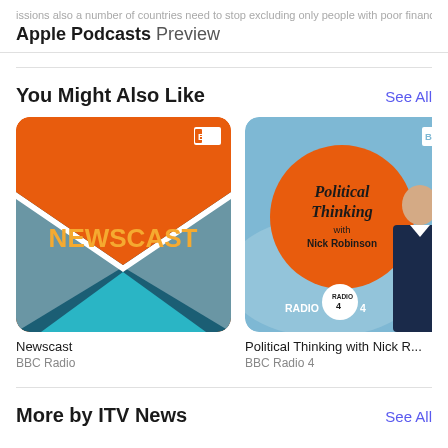Apple Podcasts Preview
You Might Also Like
[Figure (illustration): BBC Newscast podcast artwork: orange and teal geometric envelope/arrow design with BBC logo and NEWSCAST text]
Newscast
BBC Radio
[Figure (illustration): BBC Political Thinking with Nick Robinson podcast artwork: light blue background with orange circle, man in suit, BBC and RADIO 4 logo]
Political Thinking with Nick R...
BBC Radio 4
[Figure (illustration): Partial third podcast artwork, partially visible]
Po...
Th...
More by ITV News